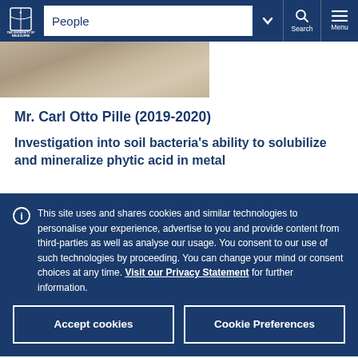[Figure (screenshot): University of Melbourne website navigation bar with logo, People search dropdown, Search and Menu icons]
[Figure (photo): Partial photo strip showing an outdoor/landscape image]
Mr. Carl Otto Pille (2019-2020)
Investigation into soil bacteria's ability to solubilize and mineralize phytic acid in metal contaminated soil
This site uses and shares cookies and similar technologies to personalise your experience, advertise to you and provide content from third-parties as well as analyse our usage. You consent to our use of such technologies by proceeding. You can change your mind or consent choices at any time. Visit our Privacy Statement for further information.
Accept cookies
Cookie Preferences